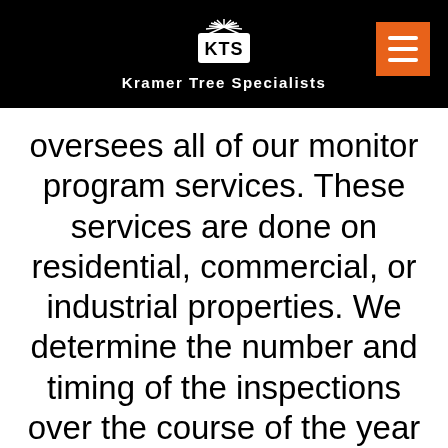Kramer Tree Specialists
oversees all of our monitor program services. These services are done on residential, commercial, or industrial properties. We determine the number and timing of the inspections over the course of the year based on the trees on your property. This is an excellent preventative maintenance program helping to keep your trees in optimum health.